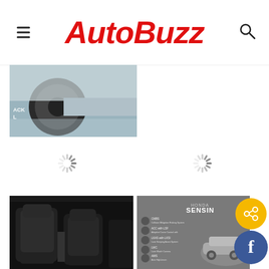AutoBuzz
[Figure (photo): Car wheel/underside detail photo, partially cropped, with 'ACK' and 'L' text overlay in white]
[Figure (other): Loading spinner icon (left)]
[Figure (other): Loading spinner icon (right)]
[Figure (photo): Car interior showing dark leather seats from front passenger perspective]
[Figure (infographic): Honda Sensing features infographic with car graphic and feature list icons]